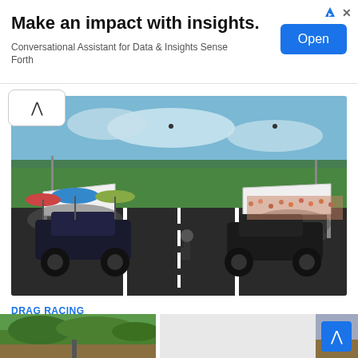[Figure (screenshot): Advertisement banner with text 'Make an impact with insights.' and subtitle 'Conversational Assistant for Data & Insights Sense Forth' with a blue Open button]
[Figure (photo): Drag racing photo showing two cars doing burnouts on a drag strip with spectators and tents on both sides, smoke visible, person standing on track, blue sky with clouds]
DRAG RACING
Memphis Street Outlaws Hercules Anthony Smith in the big tire race of 2020
4 views · 2 years ago
[Figure (photo): Bottom strip showing partial thumbnail images of racing scenes]